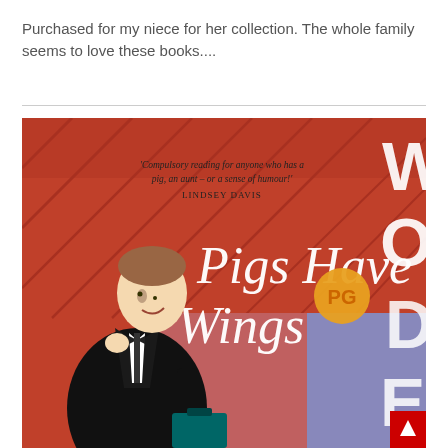Purchased for my niece for her collection. The whole family seems to love these books....
[Figure (illustration): Book cover of 'Pigs Have Wings' by P.G. Wodehouse. Red background with illustrated man in black suit adjusting bow tie. Large white text reads 'Pigs Have Wings'. Vertical 'WODE' text on right side. Quote from Lindsey Davis at top. PG logo in orange circle.]